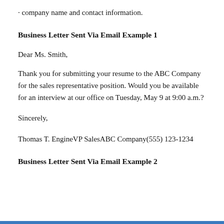company name and contact information.
Business Letter Sent Via Email Example 1
Dear Ms. Smith,
Thank you for submitting your resume to the ABC Company for the sales representative position. Would you be available for an interview at our office on Tuesday, May 9 at 9:00 a.m.?
Sincerely,
Thomas T. EngineVP SalesABC Company(555) 123-1234
Business Letter Sent Via Email Example 2